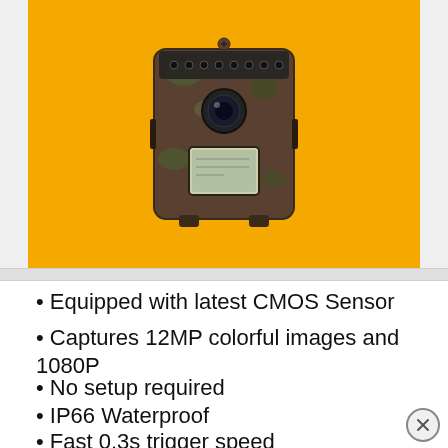[Figure (photo): Trail camera with camouflage pattern on orange/yellow background]
Equipped with latest CMOS Sensor
Captures 12MP colorful images and 1080P
No setup required
IP66 Waterproof
Fast 0.3s trigger speed
No glow night vision.